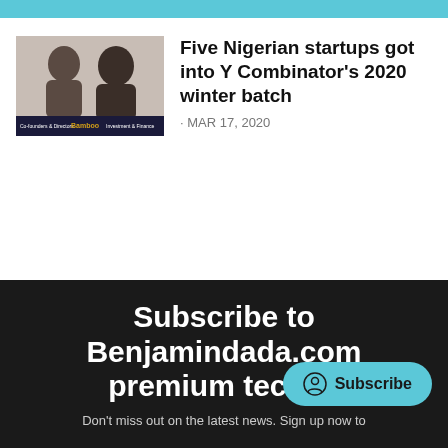[Figure (photo): Thumbnail photo of two people (a woman and a man) with a dark banner at the bottom showing 'Bamboo' in gold text]
Five Nigerian startups got into Y Combinator's 2020 winter batch
· MAR 17, 2020
Subscribe to Benjamindada.com premium tech bl
Don't miss out on the latest news. Sign up now to